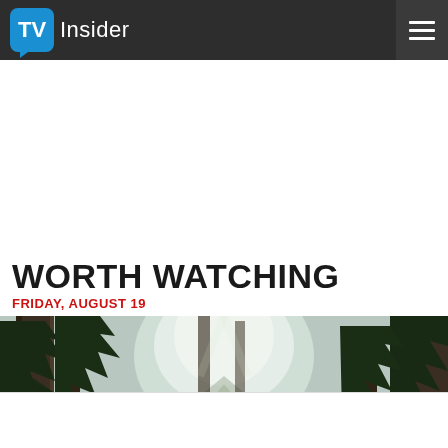TV Insider
WORTH WATCHING
FRIDAY, AUGUST 19
[Figure (photo): Forest scene with tall evergreen trees, misty/overcast lighting, a path visible in the middle distance with bright sky behind the trees]